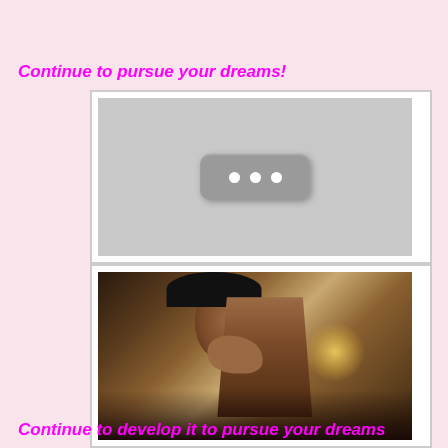Continue to pursue your dreams!
[Figure (other): A grey placeholder box with three white dots in a rounded rectangle, resembling a loading or more-options button indicator]
[Figure (photo): A woman with long straight hair covering her mouth with her hand, photographed in a dimly lit setting with warm bokeh lights in the background]
Continue to develop it to pursue your dreams